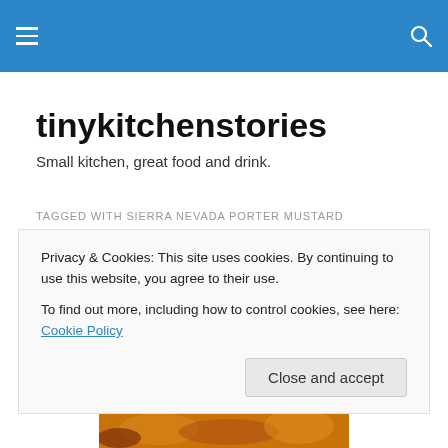tinykitchenstories navigation header with hamburger menu and search icon
tinykitchenstories
Small kitchen, great food and drink.
TAGGED WITH SIERRA NEVADA PORTER MUSTARD
The Dogs of Dinner
Every once in a while, and probably too often, The
Privacy & Cookies: This site uses cookies. By continuing to use this website, you agree to their use.
To find out more, including how to control cookies, see here: Cookie Policy
Close and accept